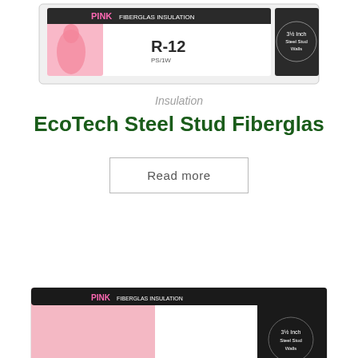[Figure (photo): Pink Panther insulation roll package - R-12 steel stud wall insulation, top portion visible]
Insulation
EcoTech Steel Stud Fiberglas
Read more
[Figure (photo): Pink fiberglass insulation product package - bottom portion visible, cropped at page bottom]